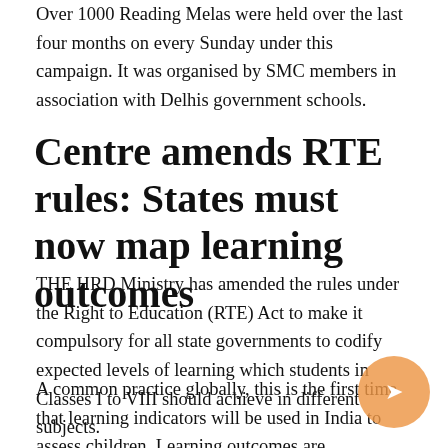Over 1000 Reading Melas were held over the last four months on every Sunday under this campaign. It was organised by SMC members in association with Delhis government schools.
Centre amends RTE rules: States must now map learning outcomes
THE HRD Ministry has amended the rules under the Right to Education (RTE) Act to make it compulsory for all state governments to codify expected levels of learning which students in Classes I to VIII should achieve in different subjects.
A common practice globally, this is the first time that learning indicators will be used in India to assess children. Learning outcomes are assessment standards which help teachers to understand the learning levels of students in their respective